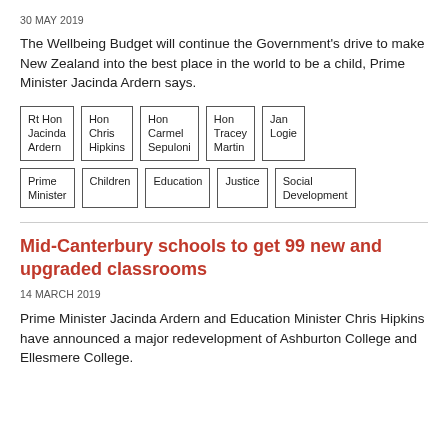30 MAY 2019
The Wellbeing Budget will continue the Government's drive to make New Zealand into the best place in the world to be a child, Prime Minister Jacinda Ardern says.
| Rt Hon Jacinda Ardern | Hon Chris Hipkins | Hon Carmel Sepuloni | Hon Tracey Martin | Jan Logie |
| Prime Minister | Children | Education | Justice | Social Development |
Mid-Canterbury schools to get 99 new and upgraded classrooms
14 MARCH 2019
Prime Minister Jacinda Ardern and Education Minister Chris Hipkins have announced a major redevelopment of Ashburton College and Ellesmere College.